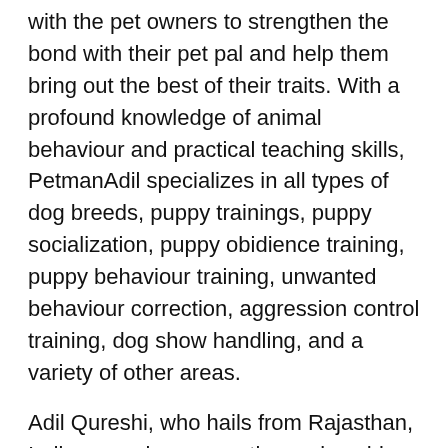with the pet owners to strengthen the bond with their pet pal and help them bring out the best of their traits. With a profound knowledge of animal behaviour and practical teaching skills, PetmanAdil specializes in all types of dog breeds, puppy trainings, puppy socialization, puppy obidience training, puppy behaviour training, unwanted behaviour correction, aggression control training, dog show handling, and a variety of other areas.
Adil Qureshi, who hails from Rajasthan, India, was always a petlover since his childhood. So was his passion for animals that instead of playing with other children, 13- year old Adil regularly visited the veterinary Govt. hospital in his small town of Mount Abu. He spent years observing them, understanding their behaviour  traits, behaviour pattern etc. He also gained knowledge about dog breeds and other animals by working in nearby farms. PetmanAdil mastered